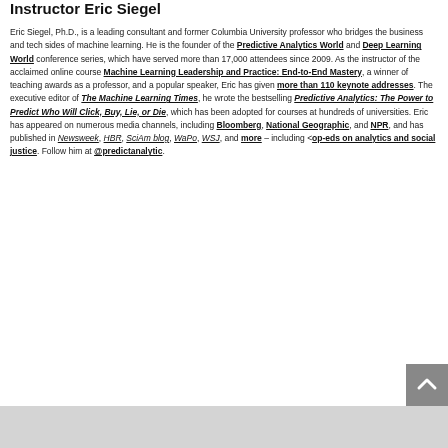Instructor Eric Siegel
Eric Siegel, Ph.D., is a leading consultant and former Columbia University professor who bridges the business and tech sides of machine learning. He is the founder of the Predictive Analytics World and Deep Learning World conference series, which have served more than 17,000 attendees since 2009. As the instructor of the acclaimed online course Machine Learning Leadership and Practice: End-to-End Mastery, a winner of teaching awards as a professor, and a popular speaker, Eric has given more than 110 keynote addresses. The executive editor of The Machine Learning Times, he wrote the bestselling Predictive Analytics: The Power to Predict Who Will Click, Buy, Lie, or Die, which has been adopted for courses at hundreds of universities. Eric has appeared on numerous media channels, including Bloomberg, National Geographic, and NPR, and has published in Newsweek, HBR, SciAm blog, WaPo, WSJ, and more – including <op-eds on analytics and social justice. Follow him at @predictanalytic.